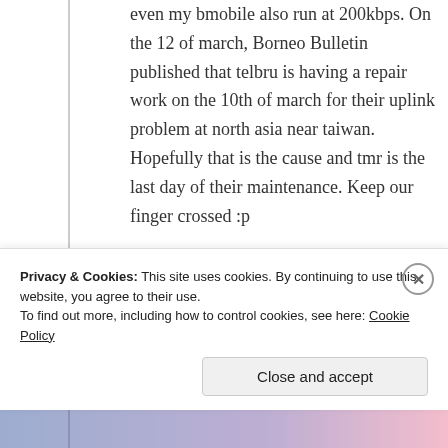even my bmobile also run at 200kbps. On the 12 of march, Borneo Bulletin published that telbru is having a repair work on the 10th of march for their uplink problem at north asia near taiwan. Hopefully that is the cause and tmr is the last day of their maintenance. Keep our finger crossed :p
↪ Reply
Privacy & Cookies: This site uses cookies. By continuing to use this website, you agree to their use. To find out more, including how to control cookies, see here: Cookie Policy
Close and accept